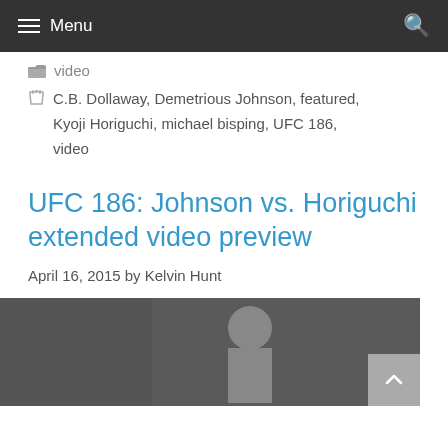Menu
video
C.B. Dollaway, Demetrious Johnson, featured, Kyoji Horiguchi, michael bisping, UFC 186, video
UFC 186: Johnson vs. Horiguchi extended video preview
April 16, 2015 by Kelvin Hunt
[Figure (photo): Photo of a fighter flexing on a weigh-in stage, with FOX branding visible in the background.]